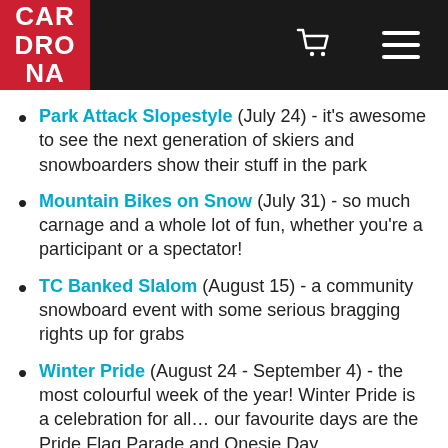CARDRONA
Park Attack Slopestyle (July 24) - it's awesome to see the next generation of skiers and snowboarders show their stuff in the park
Mountain Bikes on Snow (July 31) - so much carnage and a whole lot of fun, whether you're a participant or a spectator!
TC Banked Slalom (August 15) - a community snowboard event with some serious bragging rights up for grabs
Winter Pride (August 24 - September 4) - the most colourful week of the year! Winter Pride is a celebration for all... our favourite days are the Pride Flag Parade and Onesie Day.